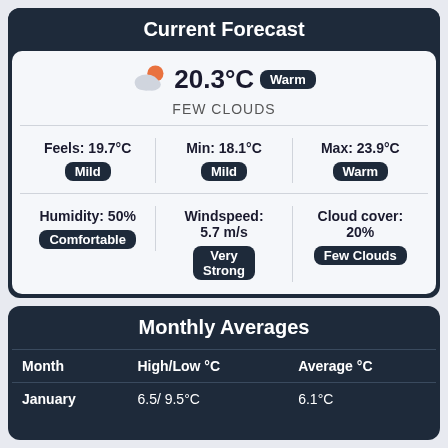Current Forecast
20.3°C Warm
FEW CLOUDS
Feels: 19.7°C Mild
Min: 18.1°C Mild
Max: 23.9°C Warm
Humidity: 50% Comfortable
Windspeed: 5.7 m/s Very Strong
Cloud cover: 20% Few Clouds
Monthly Averages
| Month | High/Low °C | Average °C |
| --- | --- | --- |
| January | 6.5/ 9.5°C | 6.1°C |